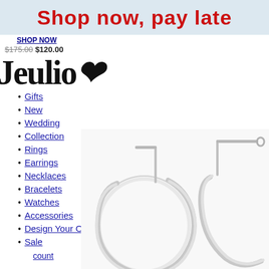Shop now, pay late
SHOP NOW
$175.00 $120.00
[Figure (logo): Jeulia jewelry brand logo with stylized heart]
Gifts
New
Wedding
Collection
Rings
Earrings
Necklaces
Bracelets
Watches
Accessories
Design Your Own
Sale
My Cart
count
[Figure (photo): Silver hoop earrings with lever-back clasp]